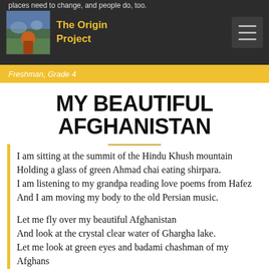The Origin Project
places need to change, and people do, too. / Freshman, Grade 4
MY BEAUTIFUL AFGHANISTAN
I am sitting at the summit of the Hindu Khush mountain
Holding a glass of green Ahmad chai eating shirpara.
I am listening to my grandpa reading love poems from Hafez
And I am moving my body to the old Persian music.

Let me fly over my beautiful Afghanistan
And look at the crystal clear water of Ghargha lake.
Let me look at green eyes and badami chashman of my Afghans
And draw their eyes for the world instead of brown and black.